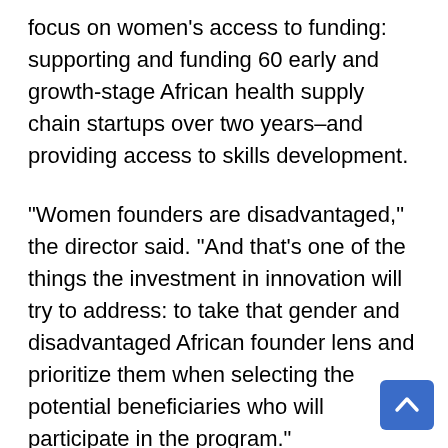focus on women’s access to funding: supporting and funding 60 early and growth-stage African health supply chain startups over two years–and providing access to skills development.
“Women founders are disadvantaged,” the director said. “And that’s one of the things the investment in innovation will try to address: to take that gender and disadvantaged African founder lens and prioritize them when selecting the potential beneficiaries who will participate in the program.”
The pan-African initiative will have four hubs in east, north, south, and west Africa. It will give these startups access to market opportunities and…